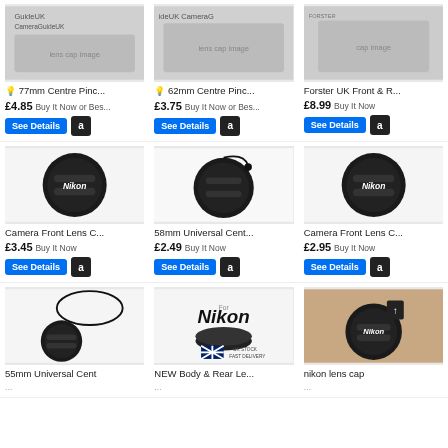[Figure (photo): Product grid of camera lens caps for sale, showing 9 items in a 3-column layout. Row 1: 77mm Centre Pinch lens cap (£4.85), 62mm Centre Pinch lens cap (£3.75), Forster UK Front & Rear cap (£8.99). Row 2: Nikon Camera Front Lens Cap (£3.45), 58mm Universal Centre Pinch cap (£2.49), Nikon Camera Front Lens Cap (£2.95). Row 3: 55mm Universal Centre cap (price cut off), NEW Body & Rear Lens cap for Nikon (price cut off), Nikon lens cap (price cut off). Each item has a See Details button and Amazon button.]